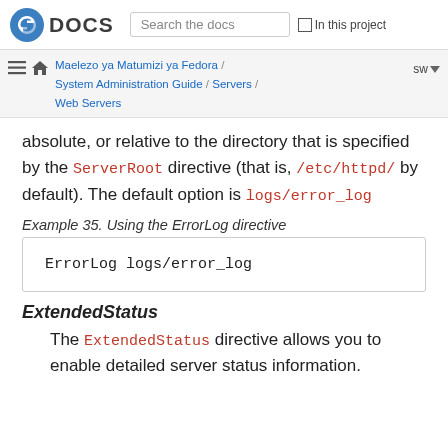Fedora DOCS | Search the docs | In this project
Maelezo ya Matumizi ya Fedora / System Administration Guide / Servers / Web Servers  sw
absolute, or relative to the directory that is specified by the ServerRoot directive (that is, /etc/httpd/ by default). The default option is logs/error_log
Example 35. Using the ErrorLog directive
ErrorLog logs/error_log
ExtendedStatus
The ExtendedStatus directive allows you to enable detailed server status information.